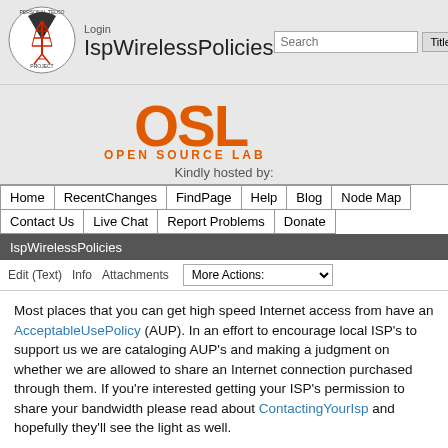[Figure (logo): Personal Telco Project circular logo with red tower/antenna illustration]
Login
IspWirelessPolicies
[Figure (logo): OSL Open Source Lab orange logo]
Kindly hosted by:
Home
RecentChanges
FindPage
Help
Blog
Node Map
Contact Us
Live Chat
Report Problems
Donate
IspWirelessPolicies
Edit (Text)   Info   Attachments   More Actions:
Most places that you can get high speed Internet access from have an AcceptableUsePolicy (AUP). In an effort to encourage local ISP's to support us we are cataloging AUP's and making a judgment on whether we are allowed to share an Internet connection purchased through them. If you're interested getting your ISP's permission to share your bandwidth please read about ContactingYourIsp and hopefully they'll see the light as well.